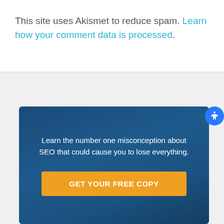This site uses Akismet to reduce spam. Learn how your comment data is processed.
Learn the number one misconception about SEO that could cause you to lose everything.
GET YOUR FREE COPY